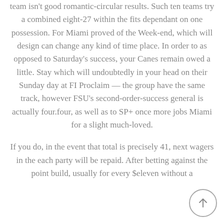team isn't good romantic-circular results. Such ten teams try a combined eight-27 within the fits dependant on one possession. For Miami proved of the Week-end, which will design can change any kind of time place. In order to as opposed to Saturday's success, your Canes remain owed a little. Stay which will undoubtedly in your head on their Sunday day at FI Proclaim — the group have the same track, however FSU's second-order-success general is actually four.four, as well as to SP+ once more jobs Miami for a slight much-loved.
If you do, in the event that total is precisely 41, next wagers in the each party will be repaid. After betting against the point build, usually for every $eleven without a